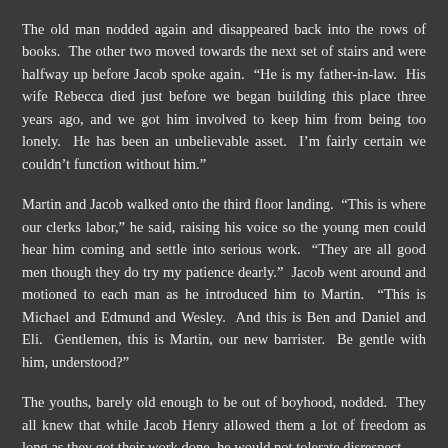The old man nodded again and disappeared back into the rows of books. The other two moved towards the next set of stairs and were halfway up before Jacob spoke again. “He is my father-in-law. His wife Rebecca died just before we began building this place three years ago, and we got him involved to keep him from being too lonely. He has been an unbelievable asset. I’m fairly certain we couldn’t function without him.”
Martin and Jacob walked onto the third floor landing. “This is where our clerks labor,” he said, raising his voice so the young men could hear him coming and settle into serious work. “They are all good men though they do try my patience dearly.” Jacob went around and motioned to each man as he introduced him to Martin. “This is Michael and Edmund and Wesley. And this is Ben and Daniel and Eli. Gentlemen, this is Martin, our new barrister. Be gentle with him, understood?”
The youths, barely old enough to be out of boyhood, nodded. They all knew that while Jacob Henry allowed them a lot of freedom as long as they got their work done, he would not tolerate disrespect.